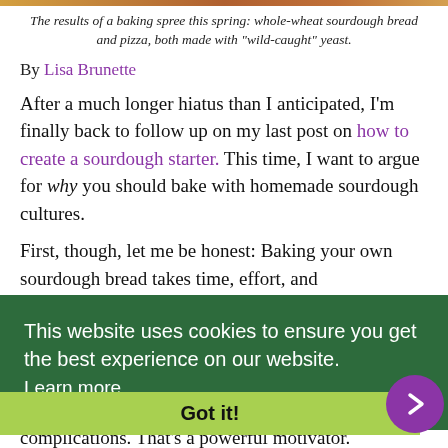The results of a baking spree this spring: whole-wheat sourdough bread and pizza, both made with "wild-caught" yeast.
By Lisa Brunette
After a much longer hiatus than I anticipated, I'm finally back to follow up on my last post on how to create a sourdough starter. This time, I want to argue for why you should bake with homemade sourdough cultures.
First, though, let me be honest: Baking your own sourdough bread takes time, effort, and
This website uses cookies to ensure you get the best experience on our website. Learn more
Got it!
complications. That's a powerful motivator.